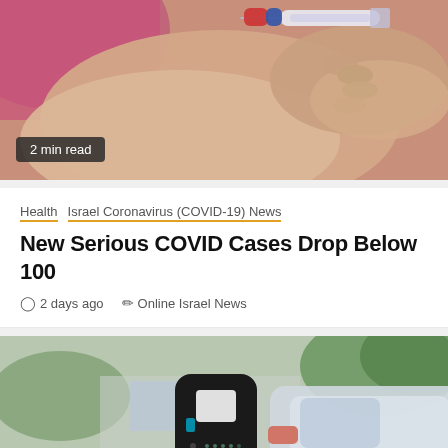[Figure (photo): Close-up photo of a medical syringe being administered into a person's arm, with a pink/magenta sleeve visible]
2 min read
Health  Israel Coronavirus (COVID-19) News
New Serious COVID Cases Drop Below 100
2 days ago  Online Israel News
[Figure (photo): Photo of an electric vehicle charging station with a square black charger unit on a pole, and an orange/silver car in the background]
2 min read